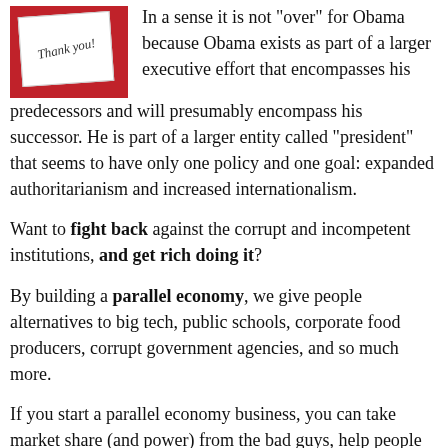[Figure (photo): A thank-you card on a red background, with cursive script reading 'Thank you']
In a sense it is not "over" for Obama because Obama exists as part of a larger executive effort that encompasses his predecessors and will presumably encompass his successor. He is part of a larger entity called "president" that seems to have only one policy and one goal: expanded authoritarianism and increased internationalism.
Want to fight back against the corrupt and incompetent institutions, and get rich doing it?
By building a parallel economy, we give people alternatives to big tech, public schools, corporate food producers, corrupt government agencies, and so much more.
If you start a parallel economy business, you can take market share (and power) from the bad guys, help people cut their reliance on evil and incompetent institutions, and make money in the process.
Enter your email below and I'll send you a free video and